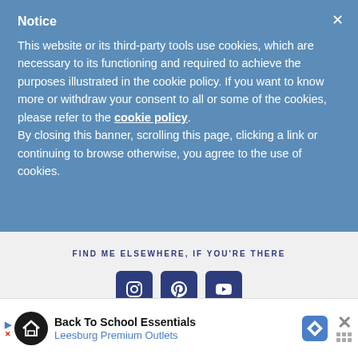Notice
This website or its third-party tools use cookies, which are necessary to its functioning and required to achieve the purposes illustrated in the cookie policy. If you want to know more or withdraw your consent to all or some of the cookies, please refer to the cookie policy. By closing this banner, scrolling this page, clicking a link or continuing to browse otherwise, you agree to the use of cookies.
FIND ME ELSEWHERE, IF YOU'RE THERE
[Figure (infographic): Three social media icon buttons: Instagram, Pinterest, YouTube — dark navy square buttons with white icons]
[Figure (infographic): Advertisement banner: Back To School Essentials - Leesburg Premium Outlets, with logo circle, blue diamond navigation icon, and close button]